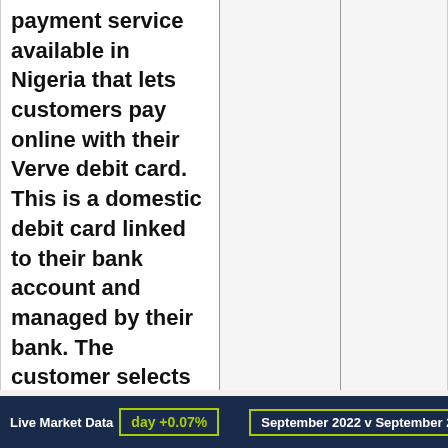payment service available in Nigeria that lets customers pay online with their Verve debit card. This is a domestic debit card linked to their bank account and managed by their bank. The customer selects the Paga Verve payment option on the payment page and uses their existing Verve card in the same way as using
Live Market Data   day +0.07%   September 2022 v September 20...